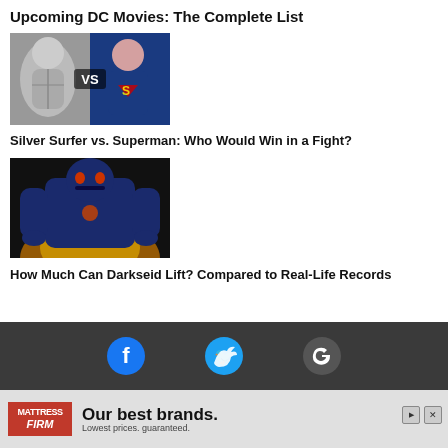Upcoming DC Movies: The Complete List
[Figure (photo): Comic book illustration showing Silver Surfer vs Superman with VS text in center]
Silver Surfer vs. Superman: Who Would Win in a Fight?
[Figure (photo): Comic book illustration of Darkseid with blue armor and flames in background]
How Much Can Darkseid Lift? Compared to Real-Life Records
[Figure (infographic): Website footer with Facebook, Twitter, and Google social media icons on dark gray background]
[Figure (infographic): Mattress Firm advertisement: Our best brands. Lowest prices. guaranteed.]